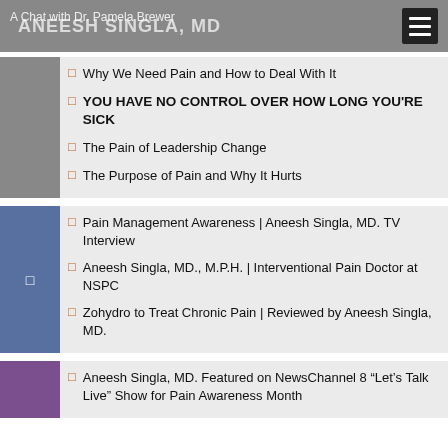ANEESH SINGLA, MD | A Chat with Dr. Pamela Brewer
Why We Need Pain and How to Deal With It
YOU HAVE NO CONTROL OVER HOW LONG YOU'RE SICK
The Pain of Leadership Change
The Purpose of Pain and Why It Hurts
Pain Management Awareness | Aneesh Singla, MD. TV Interview
Aneesh Singla, MD., M.P.H. | Interventional Pain Doctor at NSPC
Zohydro to Treat Chronic Pain | Reviewed by Aneesh Singla, MD.
Aneesh Singla, MD. Featured on NewsChannel 8 “Let’s Talk Live” Show for Pain Awareness Month